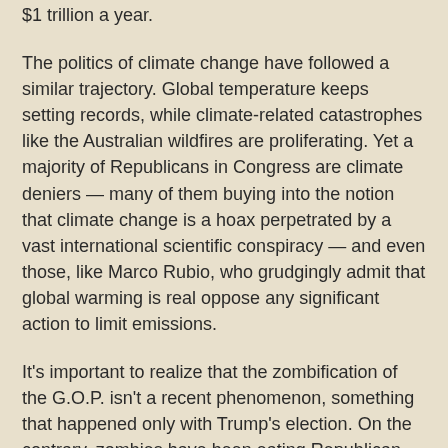$1 trillion a year.
The politics of climate change have followed a similar trajectory. Global temperature keeps setting records, while climate-related catastrophes like the Australian wildfires are proliferating. Yet a majority of Republicans in Congress are climate deniers — many of them buying into the notion that climate change is a hoax perpetrated by a vast international scientific conspiracy — and even those, like Marco Rubio, who grudgingly admit that global warming is real oppose any significant action to limit emissions.
It's important to realize that the zombification of the G.O.P. isn't a recent phenomenon, something that happened only with Trump's election. On the contrary, zombies have been eating Republican brains for decades. Voodoo economics had completely taken over the party by the early 2000s, when then-House majority leader Tom DeLay declared, "Nothing is more important in the face of war than cutting taxes." Climate deniers have ruled since at least 2009, when only eight House Republicans supported a bill to limit